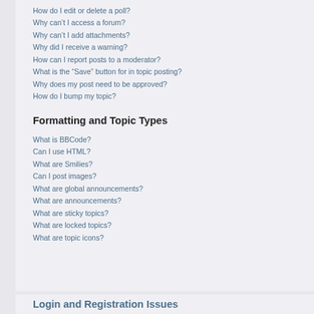How do I edit or delete a poll?
Why can't I access a forum?
Why can't I add attachments?
Why did I receive a warning?
How can I report posts to a moderator?
What is the “Save” button for in topic posting?
Why does my post need to be approved?
How do I bump my topic?
Formatting and Topic Types
What is BBCode?
Can I use HTML?
What are Smilies?
Can I post images?
What are global announcements?
What are announcements?
What are sticky topics?
What are locked topics?
What are topic icons?
Login and Registration Issues